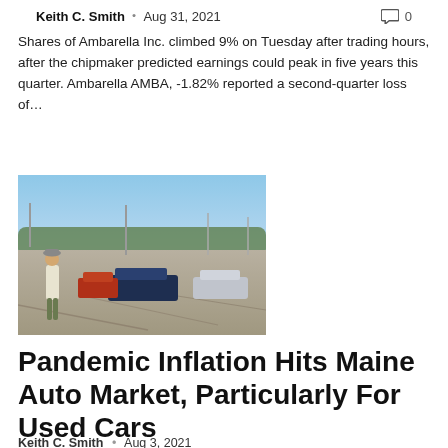Keith C. Smith • Aug 31, 2021   0
Shares of Ambarella Inc. climbed 9% on Tuesday after trading hours, after the chipmaker predicted earnings could peak in five years this quarter. Ambarella AMBA, -1.82% reported a second-quarter loss of…
[Figure (photo): Person standing in a parking lot with cars in the background on a sunny day]
Pandemic Inflation Hits Maine Auto Market, Particularly For Used Cars
Keith C. Smith • Aug 3, 2021